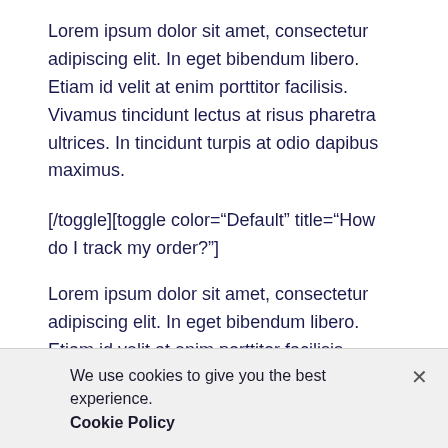Lorem ipsum dolor sit amet, consectetur adipiscing elit. In eget bibendum libero. Etiam id velit at enim porttitor facilisis. Vivamus tincidunt lectus at risus pharetra ultrices. In tincidunt turpis at odio dapibus maximus.
[/toggle][toggle color="Default" title="How do I track my order?"]
Lorem ipsum dolor sit amet, consectetur adipiscing elit. In eget bibendum libero. Etiam id velit at enim porttitor facilisis. Vivamus tincidunt lectus at risus pharetra ultrices. In tincidunt turpis at odio dapibus maximus.
[/toggle][/toggles]
We use cookies to give you the best experience. Cookie Policy